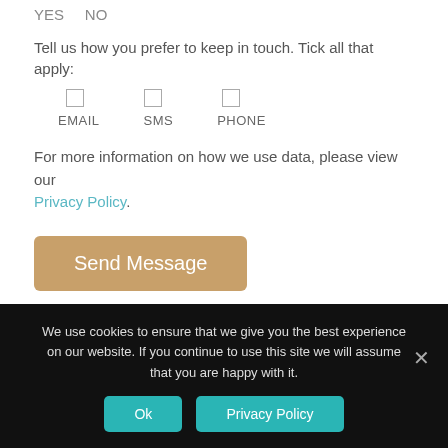YES    NO
Tell us how you prefer to keep in touch. Tick all that apply:
EMAIL    SMS    PHONE
For more information on how we use data, please view our Privacy Policy.
Send Message
Similar Properties (80)
We use cookies to ensure that we give you the best experience on our website. If you continue to use this site we will assume that you are happy with it.
Ok    Privacy Policy